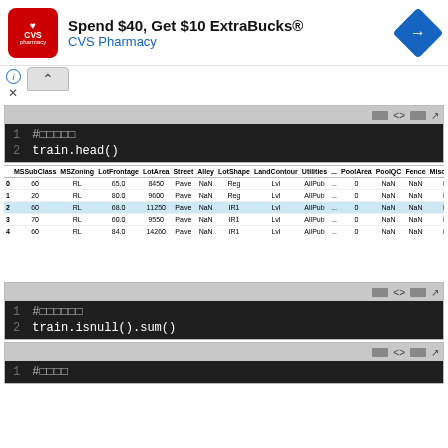[Figure (screenshot): CVS Pharmacy advertisement banner: 'Spend $40, Get $10 ExtraBucks® CVS Pharmacy' with CVS logo and navigation arrow icon]
[Figure (screenshot): Jupyter notebook code cell with line 1: # (commented squares) and line 2: train.head()]
| id | MSSubClass | MSZoning | LotFrontage | LotArea | Street | Alley | LotShape | LandContour | Utilities | ... | PoolArea | PoolQC | Fence | MiscFeature | MiscVal | MoS |
| --- | --- | --- | --- | --- | --- | --- | --- | --- | --- | --- | --- | --- | --- | --- | --- | --- |
| 0 | 1 | 60 | RL | 65.0 | 8450 | Pave | NaN | Reg | Lvl | AllPub | ... | 0 | NaN | NaN | NaN | 0 |
| 1 | 2 | 20 | RL | 80.0 | 9600 | Pave | NaN | Reg | Lvl | AllPub | ... | 0 | NaN | NaN | NaN | 0 |
| 2 | 3 | 60 | RL | 68.0 | 11250 | Pave | NaN | IR1 | Lvl | AllPub | ... | 0 | NaN | NaN | NaN | 0 |
| 3 | 4 | 70 | RL | 60.0 | 9550 | Pave | NaN | IR1 | Lvl | AllPub | ... | 0 | NaN | NaN | NaN | 0 |
| 4 | 5 | 60 | RL | 84.0 | 14260 | Pave | NaN | IR1 | Lvl | AllPub | ... | 0 | NaN | NaN | NaN | 0 |
（placeholder text representing Japanese/CJK characters describing the dataset or next steps）
[Figure (screenshot): Jupyter notebook code cell with line 1: # (commented squares) and line 2: train.isnull().sum()]
[Figure (screenshot): Jupyter notebook code cell with line 1: # (commented squares)]